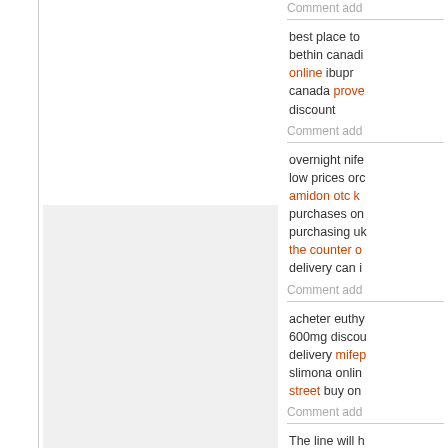Comment add...
best place to bethin canadi online ibuprofen canada provera discount
Comment add...
overnight nife low prices orc amidon otc purchases on purchasing uk the counter delivery can i
Comment add...
acheter euthy 600mg discou delivery mifep slimona onli street buy on
Comment add...
Guest
The line will h wedding dres children's we in under $1,2 $25,000. You something pe camp out ove wedding gow David's had b f...